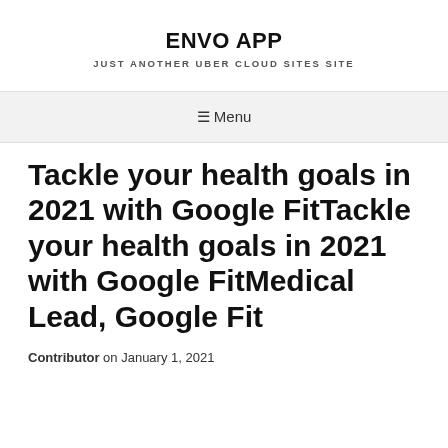ENVO APP
JUST ANOTHER UBER CLOUD SITES SITE
☰ Menu
Tackle your health goals in 2021 with Google FitTackle your health goals in 2021 with Google FitMedical Lead, Google Fit
Contributor on January 1, 2021